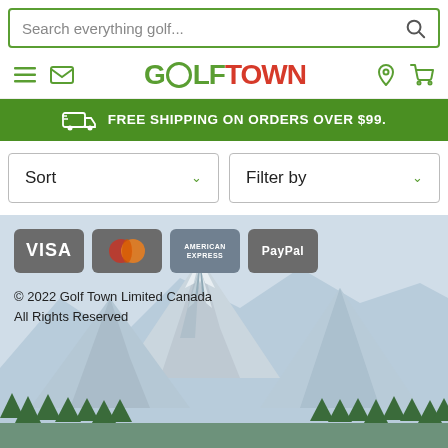Search everything golf...
[Figure (logo): Golf Town logo with green GOLF and red TOWN text, hamburger menu, mail icon, location pin icon, cart icon]
FREE SHIPPING ON ORDERS OVER $99.
Sort
Filter by
[Figure (other): Payment method icons: Visa, Mastercard, American Express, PayPal displayed as grey rounded rectangle badges]
© 2022 Golf Town Limited Canada All Rights Reserved
[Figure (photo): Background photo of snow-capped mountain peaks with pine forest trees in foreground against light sky]